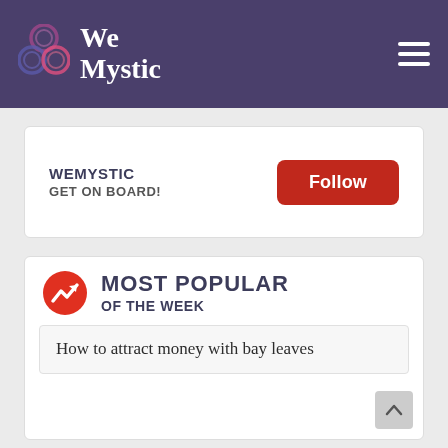We Mystic
WEMYSTIC
GET ON BOARD!
Follow
MOST POPULAR
OF THE WEEK
How to attract money with bay leaves